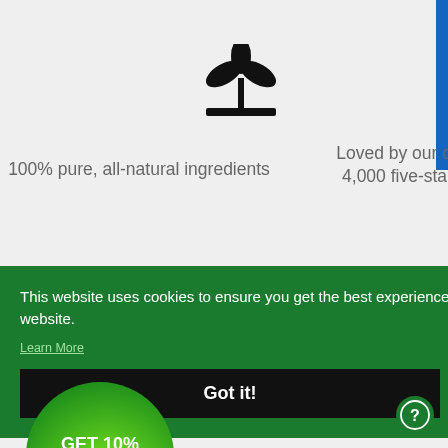[Figure (illustration): Plant/seedling icon with two leaves above a horizontal ground line]
100% pure, all-natural ingredients
[Figure (illustration): Five-pointed star icon]
Loved by our customers: 4,000 five-star reviews!
[Figure (illustration): Heart icon]
[Figure (illustration): Thumbs-up icon]
on
This website uses cookies to ensure you get the best experience on our website.
Learn More
Got it!
[Figure (illustration): Green circular discount bubble with text GET 10% OFF and an emoji]
GET 10% OFF 🎁
[Figure (illustration): Green circular help/question mark button at bottom right]